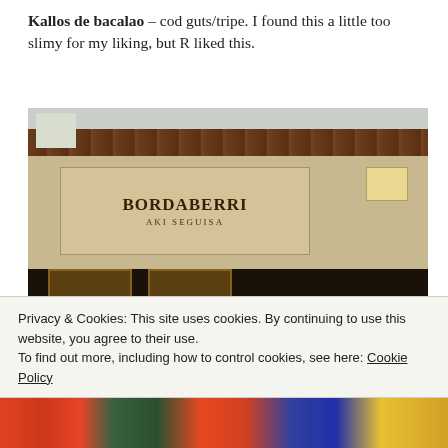Kallos de bacalao – cod guts/tripe. I found this a little too slimy for my liking, but R liked this.
[Figure (photo): Exterior of Bordaberri restaurant with stone facade and large sign reading 'BORDABERRI AKI SEGUISA']
Privacy & Cookies: This site uses cookies. By continuing to use this website, you agree to their use.
To find out more, including how to control cookies, see here: Cookie Policy